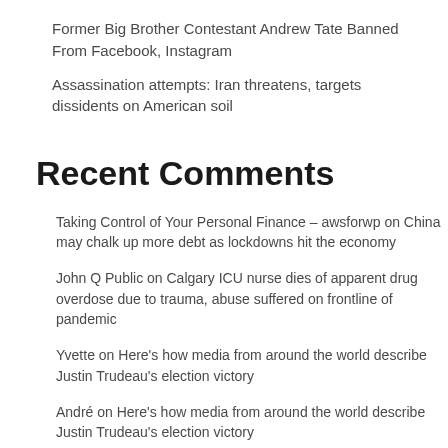Former Big Brother Contestant Andrew Tate Banned From Facebook, Instagram
Assassination attempts: Iran threatens, targets dissidents on American soil
Recent Comments
Taking Control of Your Personal Finance – awsforwp on China may chalk up more debt as lockdowns hit the economy
John Q Public on Calgary ICU nurse dies of apparent drug overdose due to trauma, abuse suffered on frontline of pandemic
Yvette on Here's how media from around the world describe Justin Trudeau's election victory
André on Here's how media from around the world describe Justin Trudeau's election victory